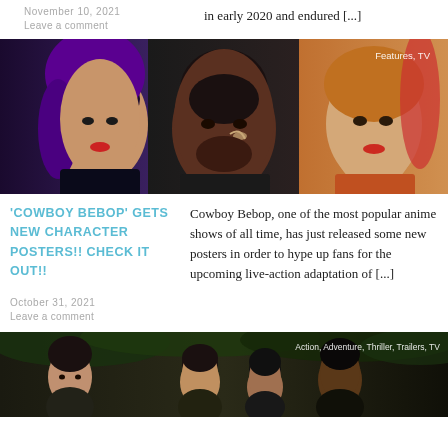November 10, 2021
Leave a comment
in early 2020 and endured [...]
[Figure (photo): Promotional image for Cowboy Bebop live-action: three character close-up portraits side by side with 'Features, TV' overlay tag]
'COWBOY BEBOP' GETS NEW CHARACTER POSTERS!! CHECK IT OUT!!
Cowboy Bebop, one of the most popular anime shows of all time, has just released some new posters in order to hype up fans for the upcoming live-action adaptation of [...]
October 31, 2021
Leave a comment
[Figure (photo): Promotional still with cast members outdoors with trees, tagged 'Action, Adventure, Thriller, Trailers, TV']